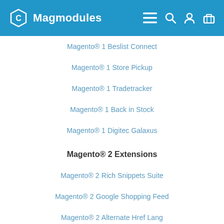Magmodules
Magento® 1 Beslist Connect
Magento® 1 Store Pickup
Magento® 1 Tradetracker
Magento® 1 Back in Stock
Magento® 1 Digitec Galaxus
Magento® 2 Extensions
Magento® 2 Rich Snippets Suite
Magento® 2 Google Shopping Feed
Magento® 2 Alternate Href Lang
Magento® 2 Beslist Winkelwagen